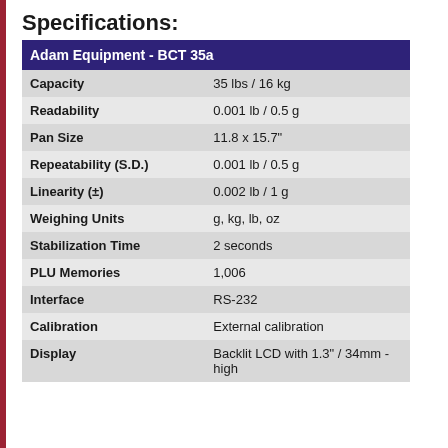Specifications:
| Adam Equipment - BCT 35a |  |
| --- | --- |
| Capacity | 35 lbs / 16 kg |
| Readability | 0.001 lb / 0.5 g |
| Pan Size | 11.8 x 15.7" |
| Repeatability (S.D.) | 0.001 lb / 0.5 g |
| Linearity (±) | 0.002 lb / 1 g |
| Weighing Units | g, kg, lb, oz |
| Stabilization Time | 2 seconds |
| PLU Memories | 1,006 |
| Interface | RS-232 |
| Calibration | External calibration |
| Display | Backlit LCD with 1.3" / 34mm -high |